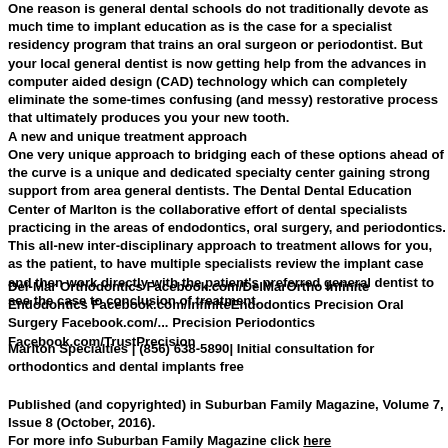One reason is general dental schools do not traditionally devote as much time to implant education as is the case for a specialist residency program that trains an oral surgeon or periodontist. But your local general dentist is now getting help from the advances in computer aided design (CAD) technology which can completely eliminate the some-times confusing (and messy) restorative process that ultimately produces you your new tooth.
A new and unique treatment approach
One very unique approach to bridging each of these options and staying ahead of the curve is a unique and dedicated specialty center which is gaining strong support from area general dentists. The Dental Implant and Dental Education Center of Marlton is the collaborative effort of multiple dental specialists practicing in the areas of endodontics, oral surgery, and periodontics. This all-new inter-disciplinary approach to treatment allows for you, as the patient, to have multiple specialists review the implant case and then work directly with the patient's preferred general dentist to see the case to conclusion of treatment.
Del-Mar Orthodontics Facebook.com/DelMarOrtho Infinite Endodontics Facebook.com/InfiniteEndodontics Precision Oral Surgery Facebook.com/... Precision Periodontics Facebook.com/TrustPrecision
Marlton Specialties | (856) 638-5890| Initial consultation for orthodontics and dental implants free
Published (and copyrighted) in Suburban Family Magazine, Volume 7, Issue 8 (October, 2016). For more info Suburban Family Magazine click here